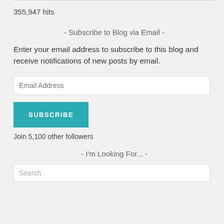355,947 hits
- Subscribe to Blog via Email -
Enter your email address to subscribe to this blog and receive notifications of new posts by email.
Email Address
SUBSCRIBE
Join 5,100 other followers
- I'm Looking For... -
Search